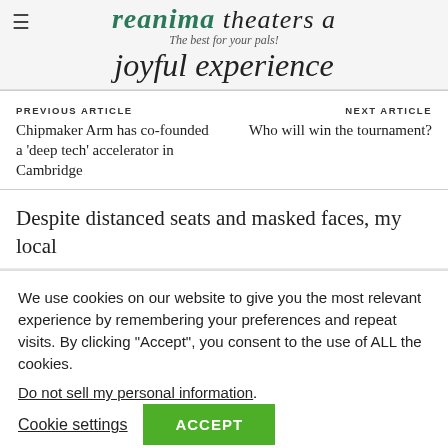reanima theaters a joyful experience — The best for your pals!
PREVIOUS ARTICLE
Chipmaker Arm has co-founded a 'deep tech' accelerator in Cambridge
NEXT ARTICLE
Who will win the tournament?
Despite distanced seats and masked faces, my local
We use cookies on our website to give you the most relevant experience by remembering your preferences and repeat visits. By clicking "Accept", you consent to the use of ALL the cookies.
Do not sell my personal information.
Cookie settings   ACCEPT